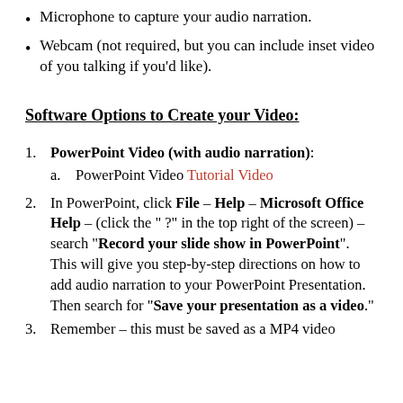Microphone to capture your audio narration.
Webcam (not required, but you can include inset video of you talking if you'd like).
Software Options to Create your Video:
1. PowerPoint Video (with audio narration):
   a. PowerPoint Video Tutorial Video
2. In PowerPoint, click File – Help – Microsoft Office Help – (click the " ?" in the top right of the screen) – search "Record your slide show in PowerPoint".  This will give you step-by-step directions on how to add audio narration to your PowerPoint Presentation.  Then search for "Save your presentation as a video".
3. Remember – this must be saved as a MP4 video